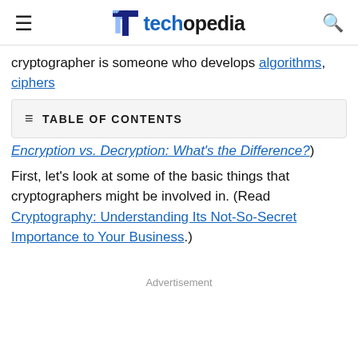techopedia
cryptographer is someone who develops algorithms, ciphers
TABLE OF CONTENTS
Encryption vs. Decryption: What's the Difference?)
First, let's look at some of the basic things that cryptographers might be involved in. (Read Cryptography: Understanding Its Not-So-Secret Importance to Your Business.)
Advertisement